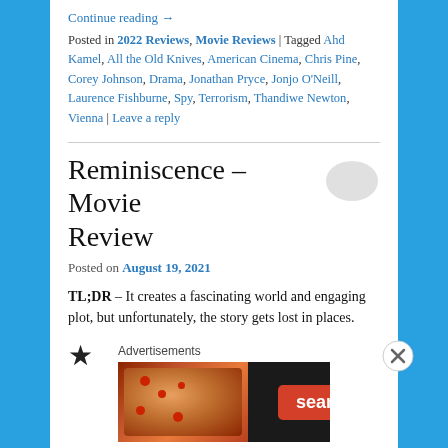Continue reading →
Posted in 2022 Reviews, Movie Reviews | Tagged Ahd Kamel, All the Old Knives, American Cinema, Chris Pine, Corey Johnson, Drama, Jonathan Pryce, Jonjo O'Neill, Laurence Fishburne, Spy, Terrorism, Thandiwe Newton, Vienna | Leave a reply
Reminiscence – Movie Review
Posted on August 19, 2021
TL;DR – It creates a fascinating world and engaging plot, but unfortunately, the story gets lost in places.
[Figure (infographic): 3 filled stars and 2 empty stars rating out of 5]
Advertisements
[Figure (illustration): Seamless food delivery advertisement banner with pizza image, Seamless logo, and ORDER NOW button]